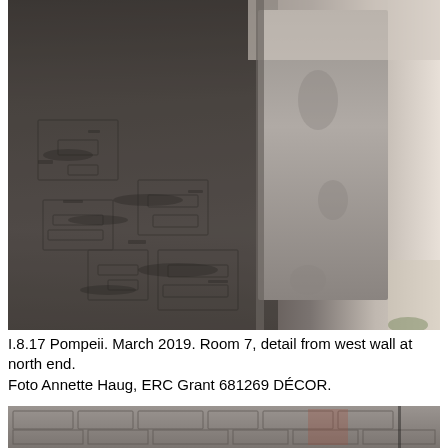[Figure (photo): Photograph of an ancient Roman wall at Pompeii, showing heavily weathered and eroded plaster/stucco surface with rough texture. The left portion shows textured dark gray stone or plaster with what appears to be ancient inscriptions or relief carvings. The right portion shows a smoother lighter gray plastered surface with erosion marks. A glimpse of an outdoor space is visible at the right edge. Room 7, west wall at north end, I.8.17 Pompeii, March 2019.]
I.8.17 Pompeii. March 2019. Room 7, detail from west wall at north end.
Foto Annette Haug, ERC Grant 681269 DÉCOR.
[Figure (photo): Partial photograph showing the lower portion of an ancient Roman wall at Pompeii, with visible brick and stone masonry, some reddish plaster remains, and rough stone texture.]